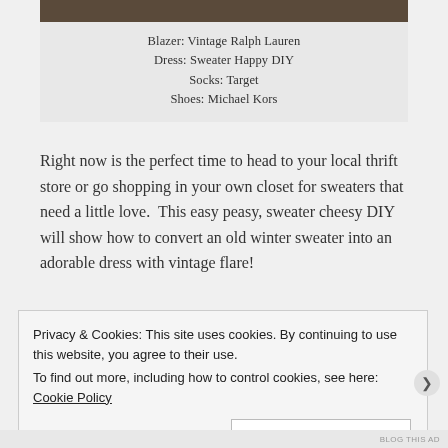[Figure (photo): Top portion of an outdoor photo strip showing ground/nature scene]
Blazer: Vintage Ralph Lauren
Dress: Sweater Happy DIY
Socks: Target
Shoes: Michael Kors
Right now is the perfect time to head to your local thrift store or go shopping in your own closet for sweaters that need a little love.  This easy peasy, sweater cheesy DIY will show how to convert an old winter sweater into an adorable dress with vintage flare!
Privacy & Cookies: This site uses cookies. By continuing to use this website, you agree to their use.
To find out more, including how to control cookies, see here: Cookie Policy
Close and accept